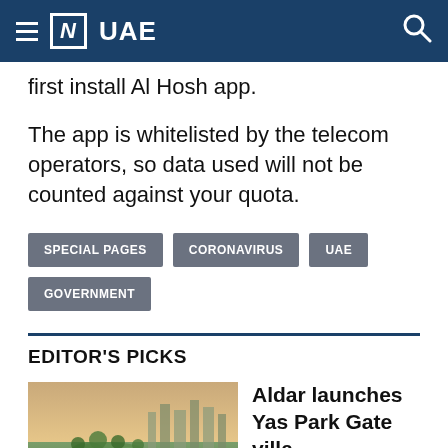[N] UAE
first install Al Hosh app.
The app is whitelisted by the telecom operators, so data used will not be counted against your quota.
SPECIAL PAGES
CORONAVIRUS
UAE
GOVERNMENT
EDITOR'S PICKS
[Figure (photo): Aerial view of a city park and surrounding urban development]
Aldar launches Yas Park Gate villa development next to new family park